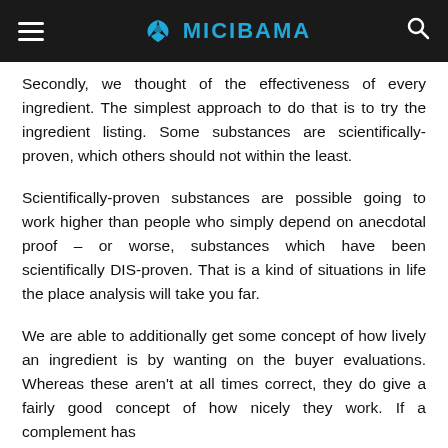MICIBAMA
Secondly, we thought of the effectiveness of every ingredient. The simplest approach to do that is to try the ingredient listing. Some substances are scientifically-proven, which others should not within the least.
Scientifically-proven substances are possible going to work higher than people who simply depend on anecdotal proof – or worse, substances which have been scientifically DIS-proven. That is a kind of situations in life the place analysis will take you far.
We are able to additionally get some concept of how lively an ingredient is by wanting on the buyer evaluations. Whereas these aren't at all times correct, they do give a fairly good concept of how nicely they work. If a complement has...